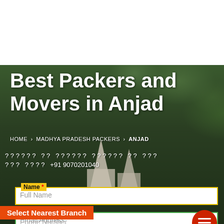[Figure (photo): Website screenshot showing a hero section with dark tree background and temple spires, featuring packers and movers service page for Anjad location]
Best Packers and Movers in Anjad
HOME > MADHYA PRADESH PACKERS > ANJAD
? ? ? ? ? ? ? ? ? ? ? ? ? ? ? ? ? ? ? ? ? ? ? ? ? ? ? ? ? ? +91 9070201040
Name * Full Name
Email Email Address
Select Nearest Branch
Phone Number